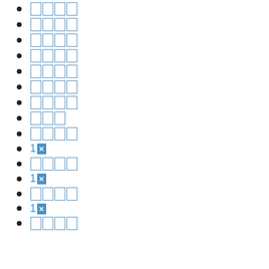□□□□
□□□□
□□□□
□□□□
□□□□
□□□□
□□□□
□□□□
□□□
□□□□
1×
□□□□
1×
□□□□
1×
□□□□